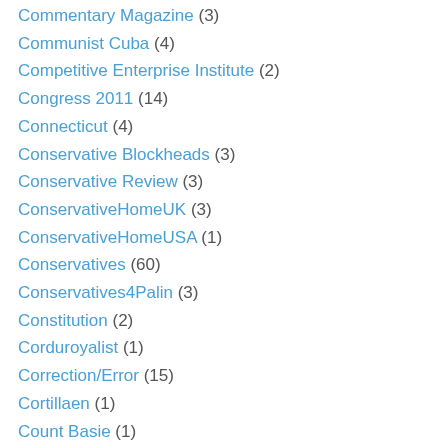Commentary Magazine (3)
Communist Cuba (4)
Competitive Enterprise Institute (2)
Congress 2011 (14)
Connecticut (4)
Conservative Blockheads (3)
Conservative Review (3)
ConservativeHomeUK (3)
ConservativeHomeUSA (1)
Conservatives (60)
Conservatives4Palin (3)
Constitution (2)
Corduroyalist (1)
Correction/Error (15)
Cortillaen (1)
Count Basie (1)
CPAC 2010 (12)
CPAC 2011 (4)
CPAC 2012 (5)
CPAC 2013 (2)